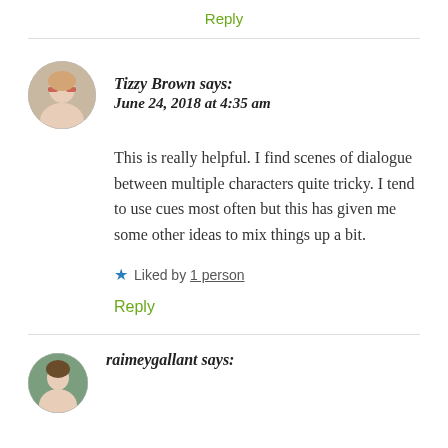Reply
[Figure (photo): Circular avatar photo of Tizzy Brown, a woman with red-framed glasses]
Tizzy Brown says:
June 24, 2018 at 4:35 am
This is really helpful. I find scenes of dialogue between multiple characters quite tricky. I tend to use cues most often but this has given me some other ideas to mix things up a bit.
★ Liked by 1 person
Reply
[Figure (photo): Circular avatar photo of raimeygallant]
raimeygallant says: